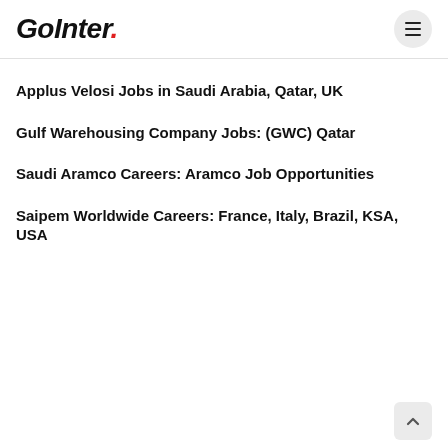GoInter.
Applus Velosi Jobs in Saudi Arabia, Qatar, UK
Gulf Warehousing Company Jobs: (GWC) Qatar
Saudi Aramco Careers: Aramco Job Opportunities
Saipem Worldwide Careers: France, Italy, Brazil, KSA, USA